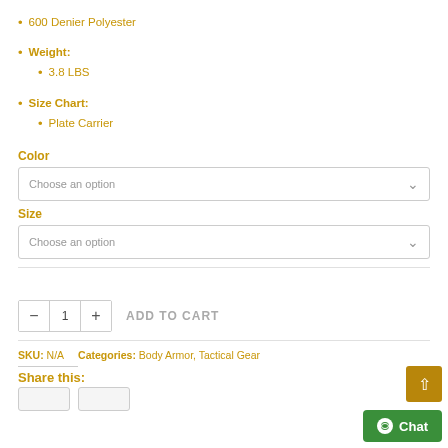600 Denier Polyester
Weight:
3.8 LBS
Size Chart:
Plate Carrier
Color
Choose an option
Size
Choose an option
ADD TO CART
SKU: N/A   Categories: Body Armor, Tactical Gear
Share this: